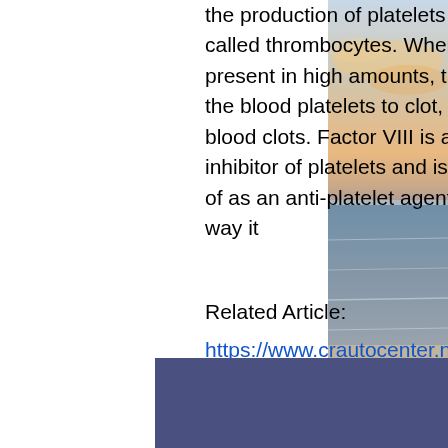the production of platelets from platelets called thrombocytes. When factor VIII is present in high amounts, this causes the blood platelets to clot, resulting in blood clots. Factor VIII is a powerful inhibitor of platelets and is often thought of as an anti-platelet agent due to the way it
Related Article:
https://www.crautocenter.net/profile/glenshanon151284/profile https://www.moongatefengshui.com/profile/porterbreitling185407/profile https://www.rev-insight.com/profile/lizettemclamore111134/profile https://ar.yumedalumni.com/profile/judekeuper178454/profile
[Figure (photo): A scenic beach/ocean photograph showing a sunset or sunrise with clouds in the sky and ocean waves, positioned on the right side of the page.]